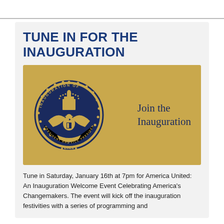TUNE IN FOR THE INAUGURATION
[Figure (illustration): Gold/tan background card with the 2021 Presidential Inauguration official seal on the left and text 'Join the Inauguration' on the right in navy blue serif font.]
Tune in Saturday, January 16th at 7pm for America United: An Inauguration Welcome Event Celebrating America's Changemakers. The event will kick off the inauguration festivities with a series of programming and...